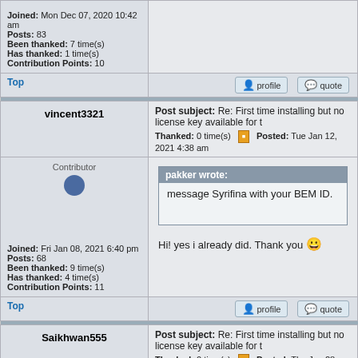Joined: Mon Dec 07, 2020 10:42 am
Posts: 83
Been thanked: 7 time(s)
Has thanked: 1 time(s)
Contribution Points: 10
Top | profile | quote
vincent3321
Post subject: Re: First time installing but no license key available for t
Thanked: 0 time(s) | Posted: Tue Jan 12, 2021 4:38 am
Contributor
pakker wrote:
message Syrifina with your BEM ID.
Joined: Fri Jan 08, 2021 6:40 pm
Posts: 68
Been thanked: 9 time(s)
Has thanked: 4 time(s)
Contribution Points: 11
Hi! yes i already did. Thank you 😀
Top | profile | quote
Saikhwan555
Post subject: Re: First time installing but no license key available for t
Thanked: 0 time(s) | Posted: Thu Jan 28, 2021 5:24 am